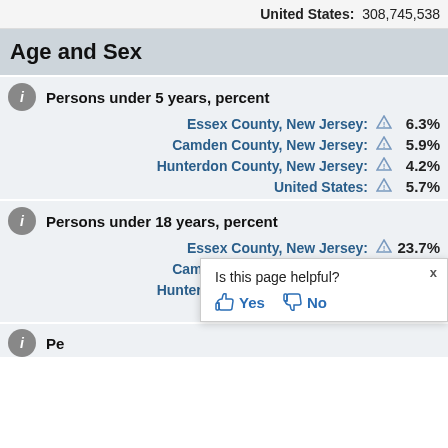United States: 308,745,538
Age and Sex
Persons under 5 years, percent
Essex County, New Jersey: 6.3%
Camden County, New Jersey: 5.9%
Hunterdon County, New Jersey: 4.2%
United States: 5.7%
Persons under 18 years, percent
Essex County, New Jersey: 23.7%
Camden County, New Jersey: 22.7%
Hunterdon County, New Jersey: 18.8%
United States: (partially visible)
Is this page helpful? Yes No